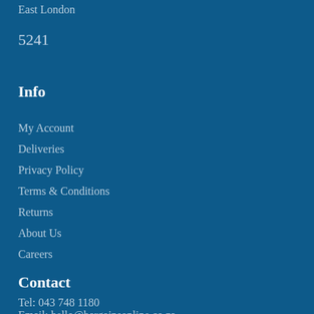East London
5241
Info
My Account
Deliveries
Privacy Policy
Terms & Conditions
Returns
About Us
Careers
Contact
Tel: 043 748 1180
Email: hello@bargainsonline.co.za